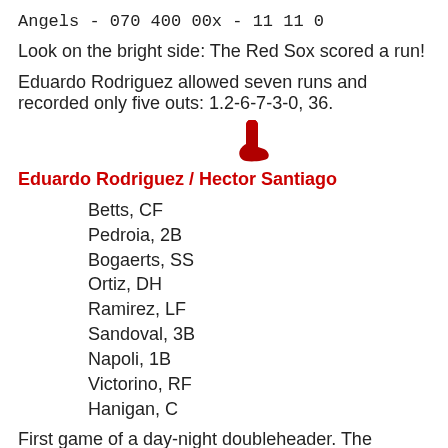Angels  - 070 400 00x - 11 11  0
Look on the bright side: The Red Sox scored a run!
Eduardo Rodriguez allowed seven runs and recorded only five outs: 1.2-6-7-3-0, 36.
[Figure (illustration): Red sock icon in dark red color]
Eduardo Rodriguez / Hector Santiago
Betts, CF
Pedroia, 2B
Bogaerts, SS
Ortiz, DH
Ramirez, LF
Sandoval, 3B
Napoli, 1B
Victorino, RF
Hanigan, C
First game of a day-night doubleheader. The second game is at 10 PM.
Blake Swihart...